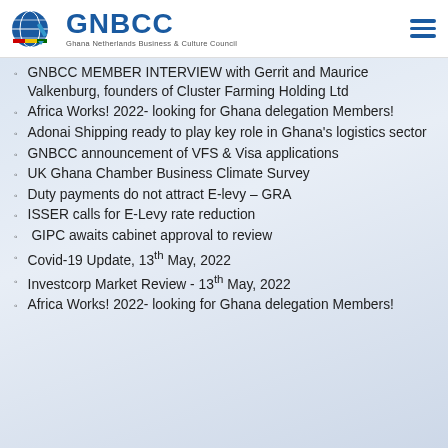GNBCC — Ghana Netherlands Business & Culture Council
GNBCC MEMBER INTERVIEW with Gerrit and Maurice Valkenburg, founders of Cluster Farming Holding Ltd
Africa Works! 2022- looking for Ghana delegation Members!
Adonai Shipping ready to play key role in Ghana's logistics sector
GNBCC announcement of VFS & Visa applications
UK Ghana Chamber Business Climate Survey
Duty payments do not attract E-levy – GRA
ISSER calls for E-Levy rate reduction
GIPC awaits cabinet approval to review
Covid-19 Update, 13th May, 2022
Investcorp Market Review - 13th May, 2022
Africa Works! 2022- looking for Ghana delegation Members!